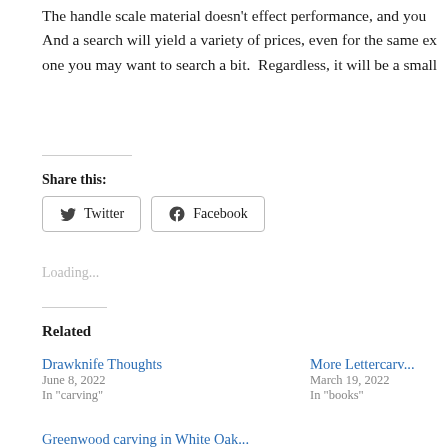The handle scale material doesn't effect performance, and you... And a search will yield a variety of prices, even for the same ex... one you may want to search a bit.  Regardless, it will be a small...
Share this:
[Figure (screenshot): Twitter and Facebook share buttons]
Loading...
Related
Drawknife Thoughts
June 8, 2022
In "carving"
More Lettercarv...
March 19, 2022
In "books"
Greenwood carving in White Oak...